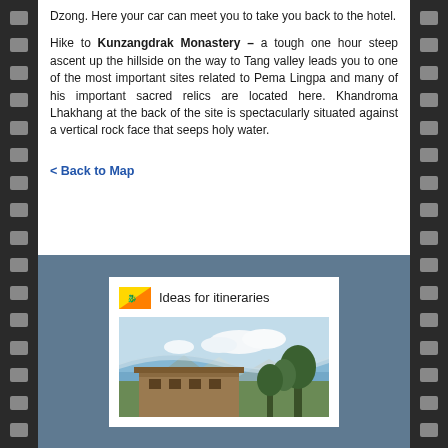Dzong.  Here your car can meet you to take you back to the hotel.
Hike to Kunzangdrak Monastery – a tough one hour steep ascent up the hillside on the way to Tang valley leads you to one of the most important sites related to Pema Lingpa and many of his important sacred relics are located here.  Khandroma Lhakhang at the back of the site is spectacularly situated against a vertical rock face that seeps holy water.
< Back to Map
[Figure (illustration): A box with a Bhutan flag icon and the text 'Ideas for itineraries', with a landscape photo below showing mountains, sky, trees and a traditional Bhutanese building.]